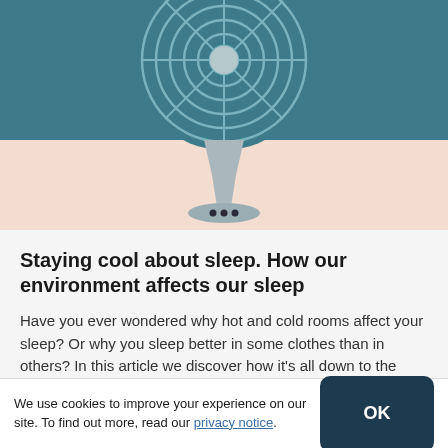[Figure (illustration): Illustration of an electric desk fan with blue teal background at top and peach/beige background below. The fan head is shown with concentric circular grille lines and a white/grey stand and base with three dots.]
Staying cool about sleep. How our environment affects our sleep
Have you ever wondered why hot and cold rooms affect your sleep? Or why you sleep better in some clothes than in others? In this article we discover how it's all down to the body's sensitivity to changes in temperature.
We use cookies to improve your experience on our site. To find out more, read our privacy notice.